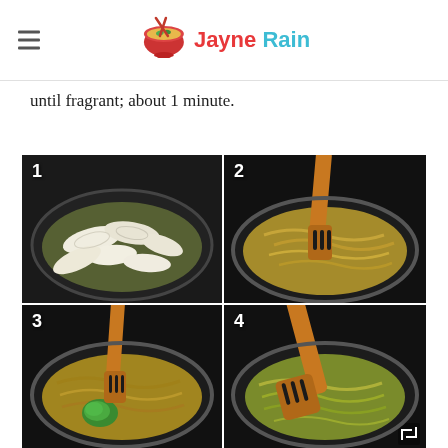Jayne Rain
until fragrant; about 1 minute.
[Figure (photo): A 2x2 grid of four cooking step photos numbered 1-4 showing stages of caramelizing onions in a pan. Step 1: raw white onion slices in oil in a pan. Step 2: onions becoming translucent and golden, stirred with a wooden spatula. Step 3: further caramelized onions with green herb paste (pesto) added. Step 4: onions being stirred with wooden spatula, partially caramelized.]